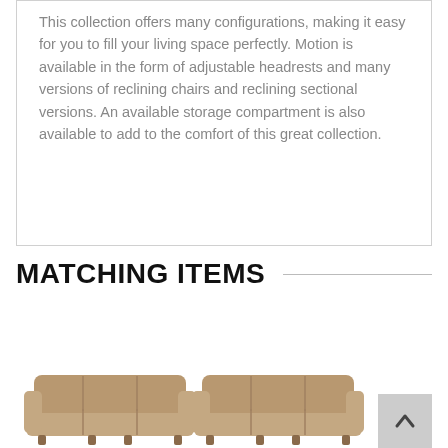This collection offers many configurations, making it easy for you to fill your living space perfectly. Motion is available in the form of adjustable headrests and many versions of reclining chairs and reclining sectional versions. An available storage compartment is also available to add to the comfort of this great collection.
MATCHING ITEMS
[Figure (photo): Two furniture product thumbnail images (sofas/sectionals) shown at the bottom of the page, partially cropped]